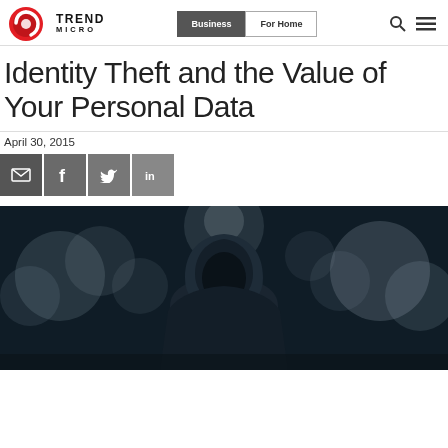Trend Micro | Business | For Home
Identity Theft and the Value of Your Personal Data
April 30, 2015
[Figure (screenshot): Social share buttons: email (envelope icon), Facebook (f), Twitter (bird), LinkedIn (in)]
[Figure (photo): Dark atmospheric photo of a hooded figure (hacker/criminal) silhouetted against blurred bokeh lights in the background]